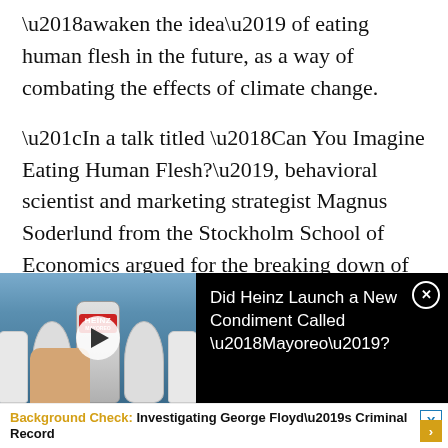'awaken the idea' of eating human flesh in the future, as a way of combating the effects of climate change.
"In a talk titled 'Can You Imagine Eating Human Flesh?', behavioral scientist and marketing strategist Magnus Soderlund from the Stockholm School of Economics argued for the breaking down of ancient taboos against desecrating the
[Figure (photo): Video thumbnail showing a hand holding a Heinz Mayoreo condiment bottle in a grocery store aisle]
Did Heinz Launch a New Condiment Called 'Mayoreo'?
Background Check: Investigating George Floyd's Criminal Record